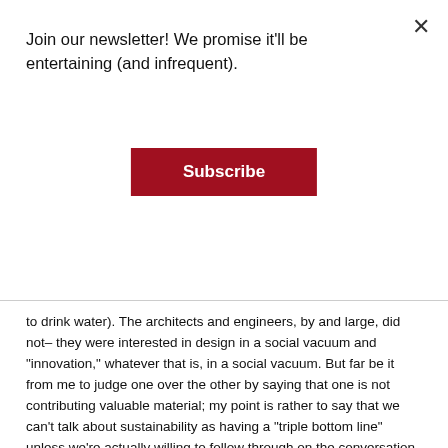Join our newsletter! We promise it'll be entertaining (and infrequent).
Subscribe
to drink water). The architects and engineers, by and large, did not– they were interested in design in a social vacuum and “innovation,” whatever that is, in a social vacuum. But far be it from me to judge one over the other by saying that one is not contributing valuable material; my point is rather to say that we can't talk about sustainability as having a “triple bottom line” unless we’re actually willing to follow through on the conversation about that pesky third part involving “people.”
I remember attending Structures for Inclusion conference in 2011, where an architect got up in front of the group and  murmured, to introduce the event, some words which, within my brain, did gyrate, and which I now remember as the simple words: “People matter.” He received a standing ovation.